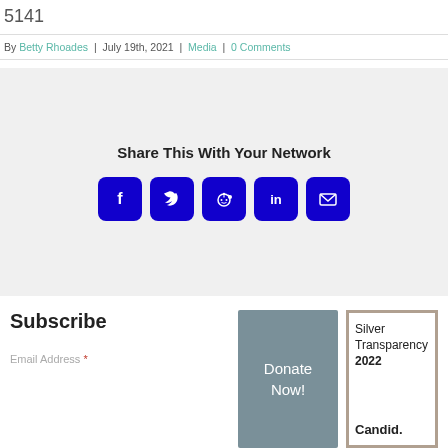5141
By Betty Rhoades | July 19th, 2021 | Media | 0 Comments
Share This With Your Network
[Figure (infographic): Five social sharing icon buttons: Facebook (f), Twitter (bird), Reddit (alien), LinkedIn (in), Email (envelope) — all dark blue rounded squares]
Subscribe
Donate Now!
Silver Transparency 2022

Candid.
Email Address *